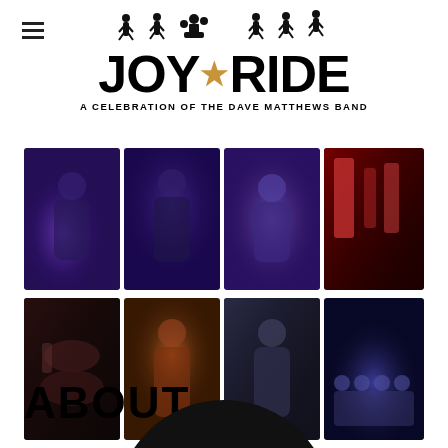JOYRIDE — A CELEBRATION OF THE DAVE MATTHEWS BAND
[Figure (photo): Collage of 8 band photos: guitarist singing, guitarist with cap, violinist, red guitar/instruments, drummer, saxophonist, trumpet player, full band group shot on stage]
ABOUT
[Figure (illustration): Top portion of a black vinyl record circle]